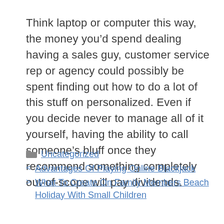Think laptop or computer this way, the money you’d spend dealing having a sales guy, customer service rep or agency could possibly be spent finding out how to do a lot of this stuff on personalized. Even if you decide never to manage all of it yourself, having the ability to call someone’s bluff once they recommend something completely out-of-scope will pay dividends.
📁 Uncategorized
< Advantages Of Playing Online Blackjack
> What To Create On Family Members Beach Holiday With Small Children